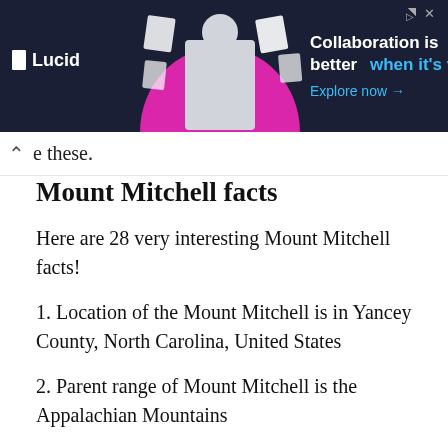[Figure (other): Lucid advertisement banner: dark background with person illustration and text 'Collaboration is better when it's visual. Explore now →']
e these.
Mount Mitchell facts
Here are 28 very interesting Mount Mitchell facts!
1. Location of the Mount Mitchell is in Yancey County, North Carolina, United States
2. Parent range of Mount Mitchell is the Appalachian Mountains